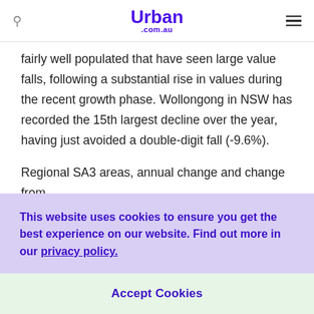Urban .com.au
fairly well populated that have seen large value falls, following a substantial rise in values during the recent growth phase. Wollongong in NSW has recorded the 15th largest decline over the year, having just avoided a double-digit fall (-9.6%).
Regional SA3 areas, annual change and change from
This website uses cookies to ensure you get the best experience on our website. Find out more in our privacy policy.
Accept Cookies